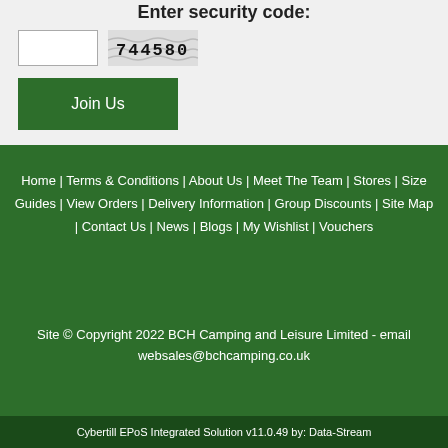Enter security code:
[Figure (screenshot): Text input box and CAPTCHA image showing '744580' with wavy lines]
Join Us
Home | Terms & Conditions | About Us | Meet The Team | Stores | Size Guides | View Orders | Delivery Information | Group Discounts | Site Map | Contact Us | News | Blogs | My Wishlist | Vouchers
Site © Copyright 2022 BCH Camping and Leisure Limited - email websales@bchcamping.co.uk
Cybertill EPoS Integrated Solution v11.0.49 by: Data-Stream